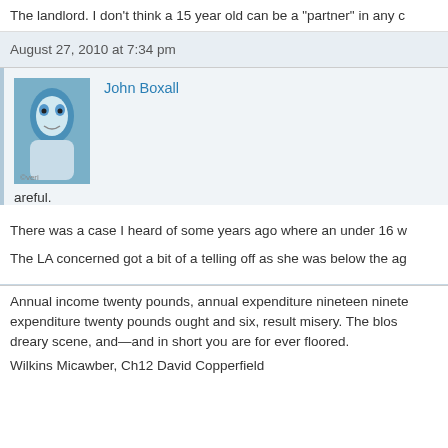The landlord. I don't think a 15 year old can be a “partner” in any c
August 27, 2010 at 7:34 pm
John Boxall
areful.
There was a case I heard of some years ago where an under 16 w
The LA concerned got a bit of a telling off as she was below the ag
Annual income twenty pounds, annual expenditure nineteen nineteen and six, result happiness. Annual income twenty pounds, expenditure twenty pounds ought and six, result misery. The bloss dreary scene, and—and in short you are for ever floored.
Wilkins Micawber, Ch12 David Copperfield